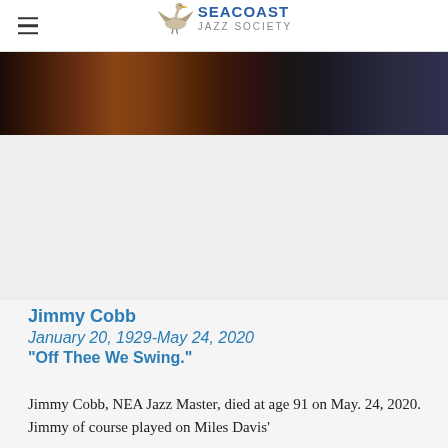Seacoast Jazz Society
[Figure (photo): Dark photograph of jazz musicians performing, showing instruments in low light]
Jimmy Cobb
January 20, 1929-May 24, 2020
"Off Thee We Swing."
Jimmy Cobb, NEA Jazz Master, died at age 91 on May. 24, 2020. Jimmy of course played on Miles Davis'